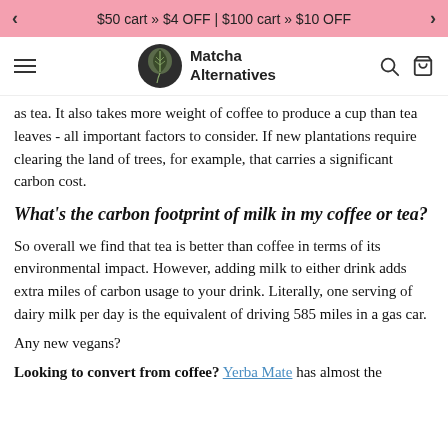$50 cart » $4 OFF | $100 cart » $10 OFF
[Figure (logo): Matcha Alternatives website navigation bar with hamburger menu, circular leaf logo, brand name 'Matcha Alternatives', search icon, and cart icon]
as tea. It also takes more weight of coffee to produce a cup than tea leaves - all important factors to consider. If new plantations require clearing the land of trees, for example, that carries a significant carbon cost.
What's the carbon footprint of milk in my coffee or tea?
So overall we find that tea is better than coffee in terms of its environmental impact. However, adding milk to either drink adds extra miles of carbon usage to your drink. Literally, one serving of dairy milk per day is the equivalent of driving 585 miles in a gas car.
Any new vegans?
Looking to convert from coffee? Yerba Mate has almost the